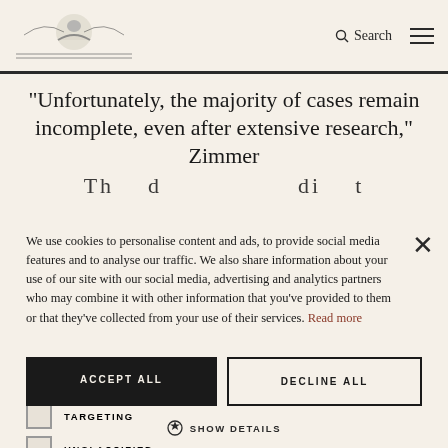[Logo] Search [Menu]
“Unfortunately, the majority of cases remain incomplete, even after extensive research,” Zimmer
We use cookies to personalise content and ads, to provide social media features and to analyse our traffic. We also share information about your use of our site with our social media, advertising and analytics partners who may combine it with other information that you’ve provided to them or that they’ve collected from your use of their services. Read more
STRICTLY NECESSARY
TARGETING
UNCLASSIFIED
ACCEPT ALL
DECLINE ALL
SHOW DETAILS